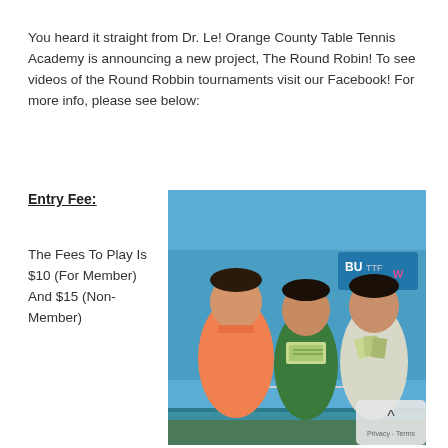You heard it straight from Dr. Le! Orange County Table Tennis Academy is announcing a new project, The Round Robin! To see videos of the Round Robbin tournaments visit our Facebook! For more info, please see below:
Entry Fee:
The Fees To Play Is $10 (For Member) And $15 (Non-Member)
[Figure (photo): Three men standing together inside a table tennis facility, two of them holding up paper money/bills. A blue table tennis table is visible in the background along with a sponsor banner.]